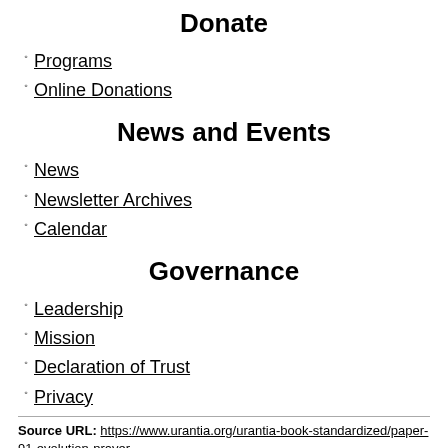Donate
Programs
Online Donations
News and Events
News
Newsletter Archives
Calendar
Governance
Leadership
Mission
Declaration of Trust
Privacy
Source URL: https://www.urantia.org/urantia-book-standardized/paper-91-evolution-prayer